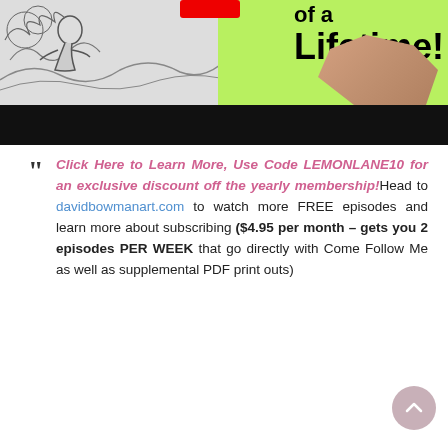[Figure (illustration): Screenshot/thumbnail of a video showing a cartoon sketch of a figure on the left and a hand drawing on a green background with large bold black text reading 'of a Lifetime!' and a red shape at top. A black bar covers the bottom of the image (video player controls area).]
Click Here to Learn More, Use Code LEMONLANE10 for an exclusive discount off the yearly membership! Head to davidbowmanart.com to watch more FREE episodes and learn more about subscribing ($4.95 per month – gets you 2 episodes PER WEEK that go directly with Come Follow Me as well as supplemental PDF print outs)